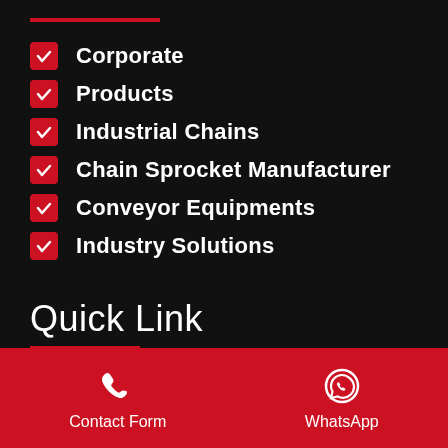Corporate
Products
Industrial Chains
Chain Sprocket Manufacturer
Conveyor Equipments
Industry Solutions
Quick Link
Industrial Chains
ACCUMULATION CHAINS
ESCALATOR CHAINS
Contact Form   WhatsApp